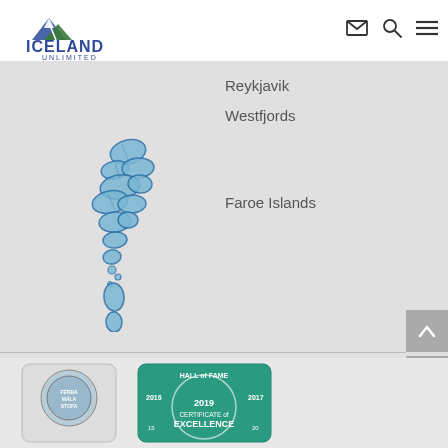[Figure (logo): Iceland Unlimited logo with mountain/glacier graphic and blue text]
Reykjavik
Westfjords
[Figure (map): Blue illustrated map of the Faroe Islands archipelago]
Faroe Islands
[Figure (logo): Ferðamálastofa (Icelandic Tourist Board) certification badge]
[Figure (logo): 2019 Certificate of Excellence Hall of Fame badge (2016, 2017 years shown)]